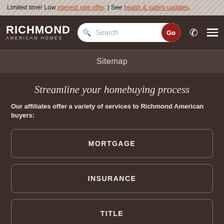Limited time! Low interest rate offer. | See health & safety updates.
[Figure (screenshot): Richmond American Homes navigation bar with search box and Go button]
Sitemap
Streamline your homebuying process
Our affiliates offer a variety of services to Richmond American buyers:
MORTGAGE
INSURANCE
TITLE